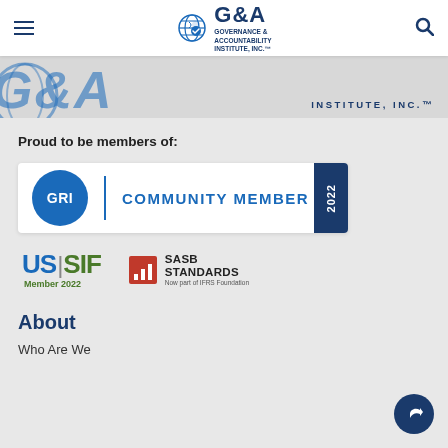G&A — Governance & Accountability Institute, Inc.™
[Figure (logo): G&A Institute large stylized logo banner, partially visible, blurred/faded]
Proud to be members of:
[Figure (logo): GRI Community Member 2022 badge — blue circle with GRI text, vertical divider, COMMUNITY MEMBER text, dark blue year tab reading 2022]
[Figure (logo): US|SIF Member 2022 logo with green SIF text and SASB Standards (Now part of IFRS Foundation) logo]
About
Who Are We